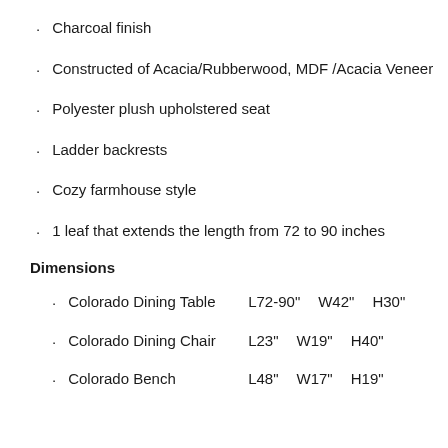Charcoal finish
Constructed of Acacia/Rubberwood, MDF /Acacia Veneer
Polyester plush upholstered seat
Ladder backrests
Cozy farmhouse style
1 leaf that extends the length from 72 to 90 inches
Dimensions
Colorado Dining Table   L72-90"  W42"   H30"
Colorado Dining Chair   L23"     W19"   H40"
Colorado Bench         L48"     W17"   H19"